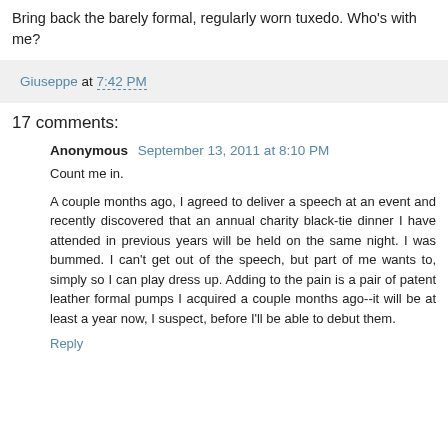Bring back the barely formal, regularly worn tuxedo. Who's with me?
Giuseppe at 7:42 PM
17 comments:
Anonymous  September 13, 2011 at 8:10 PM
Count me in.

A couple months ago, I agreed to deliver a speech at an event and recently discovered that an annual charity black-tie dinner I have attended in previous years will be held on the same night. I was bummed. I can't get out of the speech, but part of me wants to, simply so I can play dress up. Adding to the pain is a pair of patent leather formal pumps I acquired a couple months ago--it will be at least a year now, I suspect, before I'll be able to debut them.
Reply